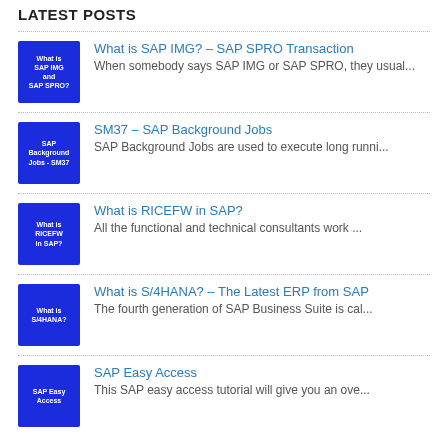LATEST POSTS
What is SAP IMG? – SAP SPRO Transaction | When somebody says SAP IMG or SAP SPRO, they usual...
SM37 – SAP Background Jobs | SAP Background Jobs are used to execute long runni...
What is RICEFW in SAP? | All the functional and technical consultants work ...
What is S/4HANA? – The Latest ERP from SAP | The fourth generation of SAP Business Suite is cal...
SAP Easy Access | This SAP easy access tutorial will give you an ove...
RECENT COMMENTS
jekyll no fabrica componentes mentiroso: | efectivo tiny jquery alternative trucos css...